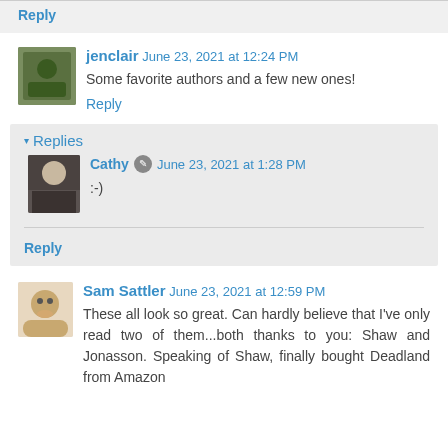Reply
jenclair  June 23, 2021 at 12:24 PM
Some favorite authors and a few new ones!
Reply
▾ Replies
Cathy  June 23, 2021 at 1:28 PM
:-)
Reply
Sam Sattler  June 23, 2021 at 12:59 PM
These all look so great. Can hardly believe that I've only read two of them...both thanks to you: Shaw and Jonasson. Speaking of Shaw, finally bought Deadland from Amazon